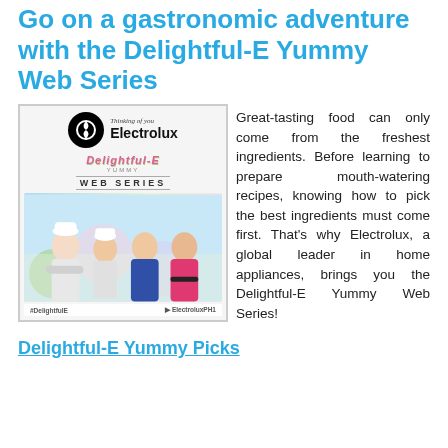Go on a gastronomic adventure with the Delightful-E Yummy Web Series
[Figure (photo): Promotional image for Electrolux Delightful-E Yummy Web Series featuring the Electrolux logo, stylized text 'Delightful-E YUMMY WEB SERIES', four people (two chefs in white uniforms, one woman in blue dress, one woman in pink/red dress), hashtag #DelightfulE and ElectroluxPH1 YouTube handle at bottom.]
Great-tasting food can only come from the freshest ingredients. Before learning to prepare mouth-watering recipes, knowing how to pick the best ingredients must come first. That's why Electrolux, a global leader in home appliances, brings you the Delightful-E Yummy Web Series!
Delightful-E Yummy Picks